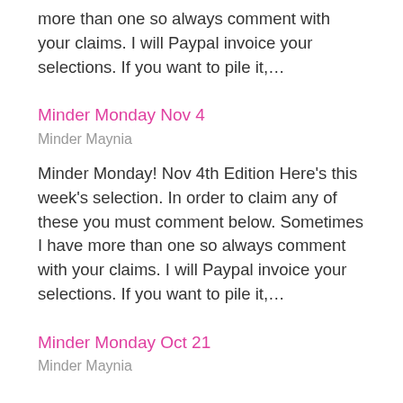more than one so always comment with your claims. I will Paypal invoice your selections. If you want to pile it,...
Minder Monday Nov 4
Minder Maynia
Minder Monday! Nov 4th Edition Here’s this week’s selection. In order to claim any of these you must comment below. Sometimes I have more than one so always comment with your claims. I will Paypal invoice your selections. If you want to pile it,...
Minder Monday Oct 21
Minder Maynia